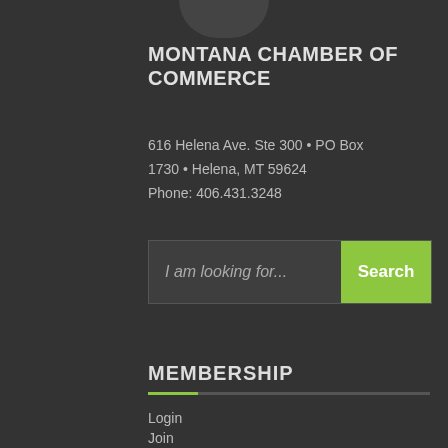MONTANA CHAMBER OF COMMERCE
616 Helena Ave. Ste 300 • PO Box 1730 • Helena, MT 59624
Phone: 406.431.3248
I am looking for...
MEMBERSHIP
Login
Join